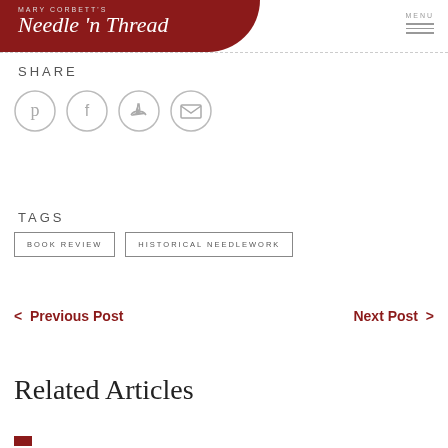Mary Corbett's Needle 'n Thread
SHARE
[Figure (infographic): Social share icons: Pinterest, Facebook, Twitter, Email — each in a light grey circle outline]
TAGS
BOOK REVIEW | HISTORICAL NEEDLEWORK
< Previous Post   Next Post >
Related Articles